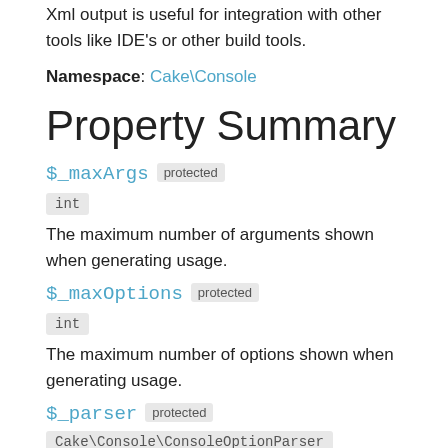Xml output is useful for integration with other tools like IDE's or other build tools.
Namespace: Cake\Console
Property Summary
$_maxArgs protected
int
The maximum number of arguments shown when generating usage.
$_maxOptions protected
int
The maximum number of options shown when generating usage.
$_parser protected
Cake\Console\ConsoleOptionParser